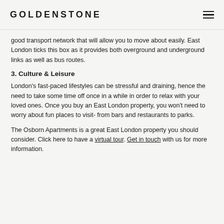GOLDENSTONE
good transport network that will allow you to move about easily. East London ticks this box as it provides both overground and underground links as well as bus routes.
3. Culture & Leisure
London's fast-paced lifestyles can be stressful and draining, hence the need to take some time off once in a while in order to relax with your loved ones. Once you buy an East London property, you won't need to worry about fun places to visit- from bars and restaurants to parks.
The Osborn Apartments is a great East London property you should consider. Click here to have a virtual tour. Get in touch with us for more information.